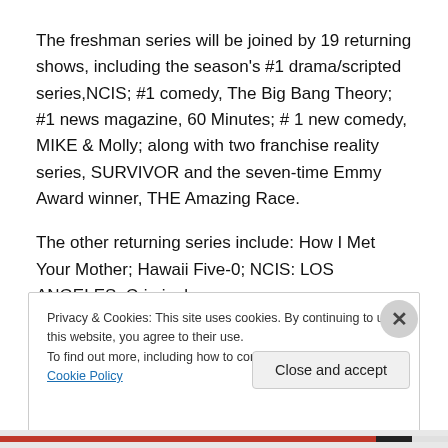The freshman series will be joined by 19 returning shows, including the season's #1 drama/scripted series,NCIS; #1 comedy, The Big Bang Theory; #1 news magazine, 60 Minutes; # 1 new comedy, MIKE & Molly; along with two franchise reality series, SURVIVOR and the seven-time Emmy Award winner, THE Amazing Race.
The other returning series include: How I Met Your Mother; Hawaii Five-0; NCIS: LOS ANGELES; Criminal
Privacy & Cookies: This site uses cookies. By continuing to use this website, you agree to their use.
To find out more, including how to control cookies, see here: Cookie Policy
Close and accept